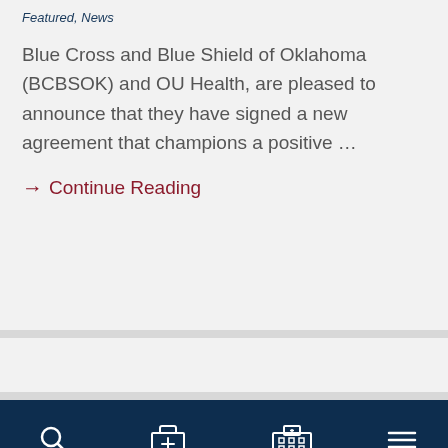Featured, News
Blue Cross and Blue Shield of Oklahoma (BCBSOK) and OU Health, are pleased to announce that they have signed a new agreement that champions a positive …
→ Continue Reading
SEARCH  SERVICES  LOCATIONS  MENU